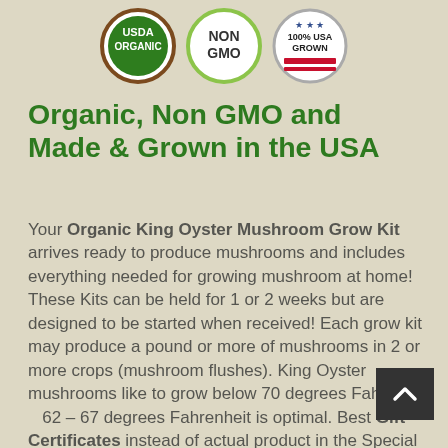[Figure (logo): Three circular badges: USDA Organic (brown border, green center), NON GMO (light green border), and 100% USA GROWN (with stars and red/white/blue bar)]
Organic, Non GMO and Made & Grown in the USA
Your Organic King Oyster Mushroom Grow Kit arrives ready to produce mushrooms and includes everything needed for growing mushroom at home! These Kits can be held for 1 or 2 weeks but are designed to be started when received! Each grow kit may produce a pound or more of mushrooms in 2 or more crops (mushroom flushes). King Oyster mushrooms like to grow below 70 degrees Fahrenheit – 62 – 67 degrees Fahrenheit is optimal. Best Gift Certificates instead of actual product in the Special Instructions section of your Shopping